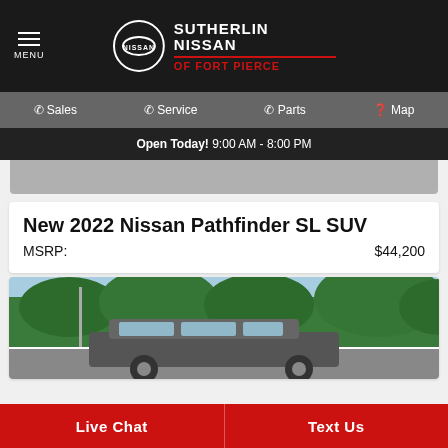MENU | NISSAN | SUTHERLIN NISSAN OF FORT PIERCE
Sales | Service | Parts | Map
Open Today! 9:00 AM - 8:00 PM
[Figure (photo): Partial view of a gray car roof area]
New 2022 Nissan Pathfinder SL SUV
MSRP: $44,200
[Figure (photo): SUV parked outdoors with trees and blue sky in background]
Live Chat | Text Us